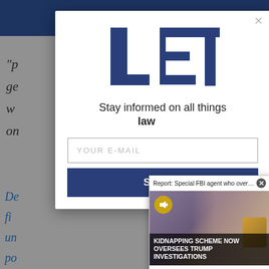menu
“P… an ge… rds w… on…
[Figure (logo): LET logo - Law Enforcement Today stylized block letters]
Stay informed on all things law …
YOUR E-MAIL
Sign U…
[Figure (screenshot): Video popup: Report: Special FBI agent who oversaw ... KIDNAPPING SCHEME NOW OVERSEES TRUMP INVESTIGATIONS]
De… fi… un… po… sh…
having active, retired and wounded officers